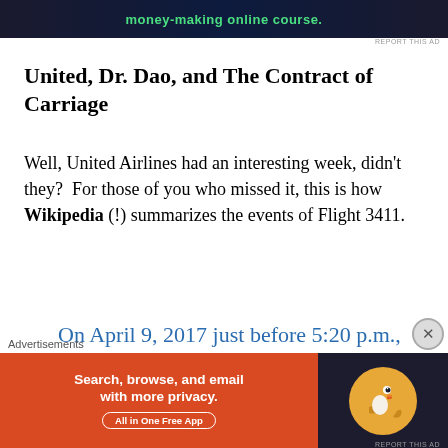[Figure (screenshot): Top advertisement banner with dark background and green text reading 'money-making online course.']
United, Dr. Dao, and The Contract of Carriage
Well, United Airlines had an interesting week, didn't they?  For those of you who missed it, this is how Wikipedia (!) summarizes the events of Flight 3411.
On April 9, 2017 just before 5:20 p.m., O'Hare International Airport police forcibly removed
Advertisements
[Figure (screenshot): DuckDuckGo advertisement: orange background with text 'Search, browse, and email with more privacy. All in One Free App' and DuckDuckGo duck logo on dark background.]